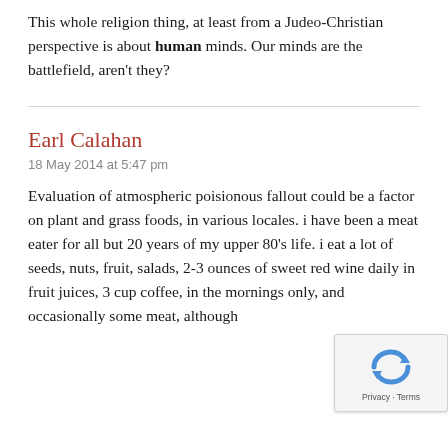This whole religion thing, at least from a Judeo-Christian perspective is about human minds. Our minds are the battlefield, aren't they?
Earl Calahan
18 May 2014 at 5:47 pm
Evaluation of atmospheric poisionous fallout could be a factor on plant and grass foods, in various locales. i have been a meat eater for all but 20 years of my upper 80's life. i eat a lot of seeds, nuts, fruit, salads, 2-3 ounces of sweet red wine daily in fruit juices, 3 cup coffee, in the mornings only, and occasionally some meat, although the appetite is only 1-5 oz...